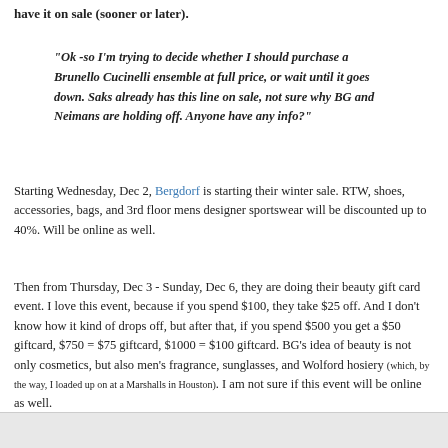have it on sale (sooner or later).
"Ok -so I'm trying to decide whether I should purchase a Brunello Cucinelli ensemble at full price, or wait until it goes down. Saks already has this line on sale, not sure why BG and Neimans are holding off. Anyone have any info?"
Starting Wednesday, Dec 2, Bergdorf is starting their winter sale. RTW, shoes, accessories, bags, and 3rd floor mens designer sportswear will be discounted up to 40%. Will be online as well.
Then from Thursday, Dec 3 - Sunday, Dec 6, they are doing their beauty gift card event. I love this event, because if you spend $100, they take $25 off. And I don't know how it kind of drops off, but after that, if you spend $500 you get a $50 giftcard, $750 = $75 giftcard, $1000 = $100 giftcard. BG's idea of beauty is not only cosmetics, but also men's fragrance, sunglasses, and Wolford hosiery (which, by the way, I loaded up on at a Marshalls in Houston). I am not sure if this event will be online as well.